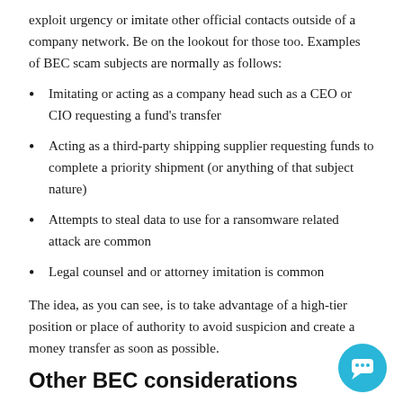exploit urgency or imitate other official contacts outside of a company network. Be on the lookout for those too. Examples of BEC scam subjects are normally as follows:
Imitating or acting as a company head such as a CEO or CIO requesting a fund's transfer
Acting as a third-party shipping supplier requesting funds to complete a priority shipment (or anything of that subject nature)
Attempts to steal data to use for a ransomware related attack are common
Legal counsel and or attorney imitation is common
The idea, as you can see, is to take advantage of a high-tier position or place of authority to avoid suspicion and create a money transfer as soon as possible.
Other BEC considerations